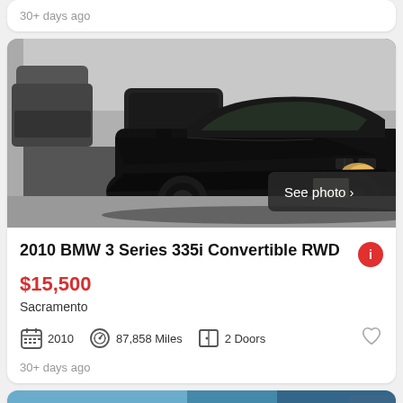30+ days ago
[Figure (photo): Photo of a black 2010 BMW 3 Series 335i Convertible parked in a garage, viewed from front-right angle. Several other vehicles visible in background. 'See photo >' button overlay in bottom right corner.]
2010 BMW 3 Series 335i Convertible RWD
$15,500
Sacramento
2010  87,858 Miles  2 Doors
30+ days ago
[Figure (photo): Partial view of another vehicle listing card at the bottom, showing a blue car.]